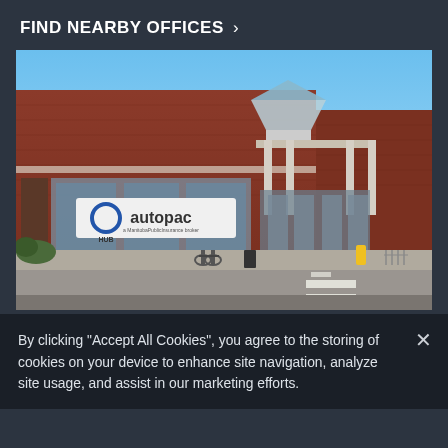FIND NEARBY OFFICES >
[Figure (photo): Exterior photo of a brick commercial building with a HUB Autopac insurance office sign, featuring a covered entrance with white columns, glass storefront, and a parking lot with bicycles and a crosswalk in the foreground under a clear blue sky.]
By clicking “Accept All Cookies”, you agree to the storing of cookies on your device to enhance site navigation, analyze site usage, and assist in our marketing efforts.